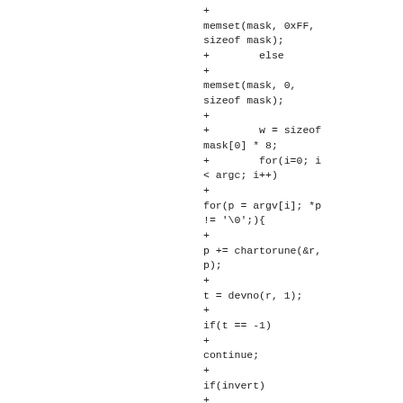+
memset(mask, 0xFF, sizeof mask);
+        else
+
memset(mask, 0, sizeof mask);
+
+        w = sizeof mask[0] * 8;
+        for(i=0; i < argc; i++)
+
for(p = argv[i]; *p != '\0';){
+
p += chartorune(&r, p);
+
t = devno(r, 1);
+
if(t == -1)
+
continue;
+
if(invert)
+
mask[t/w] &= ~(1<<t%w);
+